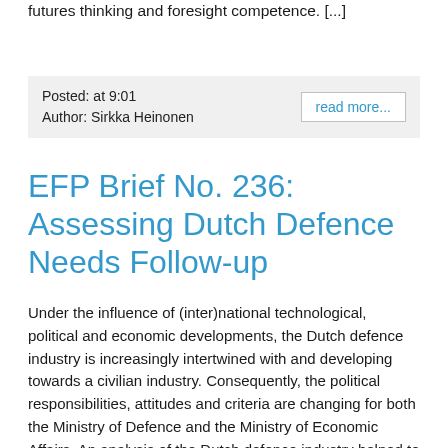futures thinking and foresight competence. [...]
Posted: at 9:01
Author: Sirkka Heinonen
read more...
EFP Brief No. 236: Assessing Dutch Defence Needs Follow-up
Under the influence of (inter)national technological, political and economic developments, the Dutch defence industry is increasingly intertwined with and developing towards a civilian industry. Consequently, the political responsibilities, attitudes and criteria are changing for both the Ministry of Defence and the Ministry of Economic Affairs. An analysis of the Dutch defence industry helped to determine the main opportunities for innovation in the industry and to identify the com-plementary technological competences needed to make the most of them. A strategic vision, including options for